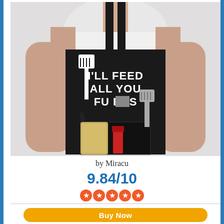[Figure (photo): Man wearing a black apron that reads "I'LL FEED ALL YOU FU**ERS" with a spatula graphic, holding cooking tools including a knife, spatula, and a kitchen towel in the apron pocket.]
by Miracu
9.84/10
[Figure (other): Five red/orange star rating icons]
Buy Now